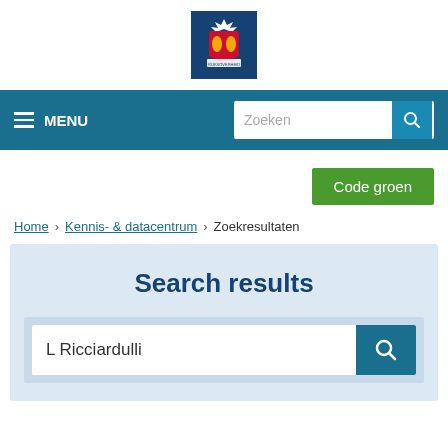[Figure (logo): Dutch government coat of arms logo on dark blue background]
MENU   Zoeken [search bar]
Code groen
Home > Kennis- & datacentrum > Zoekresultaten
Search results
L Ricciardulli [search input]